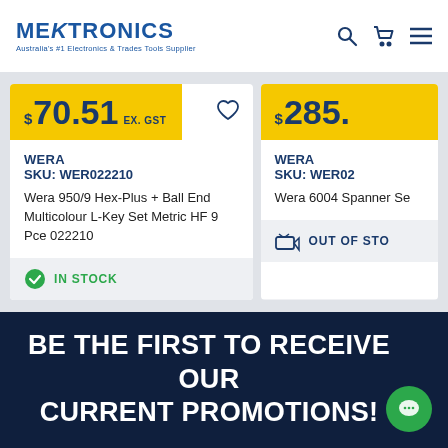[Figure (logo): Mektronics logo with tagline: Australia's #1 Electronics & Trades Tools Supplier]
$70.51 EX. GST
WERA
SKU: WER022210
Wera 950/9 Hex-Plus + Ball End Multicolour L-Key Set Metric HF 9 Pce 022210
IN STOCK
$285.
WERA
SKU: WER02
Wera 6004 Spanner Se
OUT OF STO
BE THE FIRST TO RECEIVE OUR CURRENT PROMOTIONS!